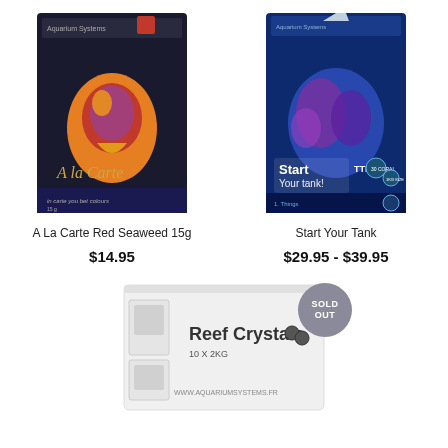[Figure (photo): A La Carte Red Seaweed 15g product package showing a colorful fish on a dark background]
[Figure (photo): Start Your Tank product box showing coral in blue tones]
A La Carte Red Seaweed 15g
Start Your Tank
$14.95
$29.95 - $39.95
[Figure (photo): Reef Crystals 10x2kg white box product with SOLD OUT badge]